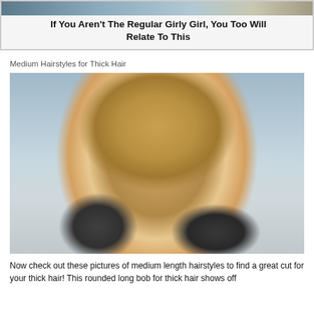[Figure (other): Advertisement banner with image strip at top and bold title text: 'If You Aren't The Regular Girly Girl, You Too Will Relate To This']
Medium Hairstyles for Thick Hair
[Figure (photo): Portrait photo of a young blonde woman with a rounded long bob hairstyle for thick hair, wearing a grey and black outfit, with a blurred blue/grey background]
Now check out these pictures of medium length hairstyles to find a great cut for your thick hair! This rounded long bob for thick hair shows off